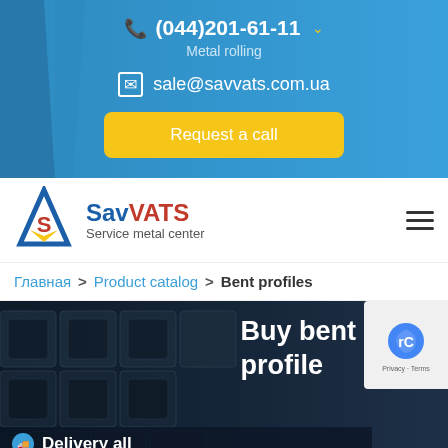(044)201-61-11
Metal rolling
sale@savvats.com.ua
Request a call
[Figure (logo): SavVATS Service metal center logo with triangular A and S emblem in blue, red and yellow]
Главная  >  Product catalog  >  Bent profiles
[Figure (photo): Stack of bent metal profiles/tubes in dark gray color, hero image]
Buy bent profile
Delivery all